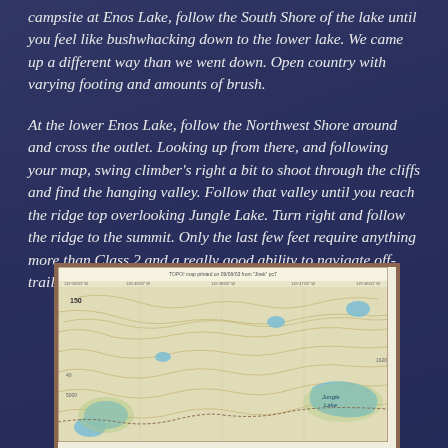campsite at Enos Lake, follow the South Shore of the lake until you feel like bushwhacking down to the lower lake. We came up a different way than we went down. Open country with varying footing and amounts of brush.
At the lower Enos Lake, follow the Northwest Shore around and cross the outlet. Looking up from there, and following your map, swing climber's right a bit to shoot through the cliffs and find the hanging valley. Follow that valley until you reach the ridge top overlooking Jungle Lake. Turn right and follow the ridge to the summit. Only the last few feet require anything more than Class 2 and a really good ability to navigate off-trail."
[Figure (map): Topographic map showing Jungle Lake area with contour lines, lakes shown in blue/green, and terrain features. TOPO! map printed notation at top. Shows elevation contours, Jungle Lake label, and surrounding terrain.]